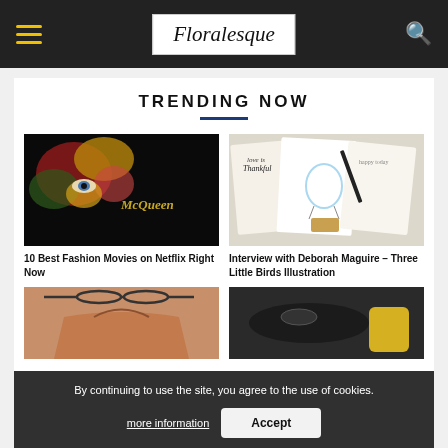Floralesque
TRENDING NOW
[Figure (photo): McQueen movie poster — face covered in flowers with one eye visible, text 'McQueen' in gold]
10 Best Fashion Movies on Netflix Right Now
[Figure (photo): Flat lay of illustrated greeting cards with a hot air balloon, handwritten text, and decorative designs]
Interview with Deborah Maguire – Three Little Birds Illustration
[Figure (photo): Partial view of a bag handle in brown/tan leather]
[Figure (photo): Partial view of a dark table and accessories, yellow object visible]
By continuing to use the site, you agree to the use of cookies.
more information
Accept